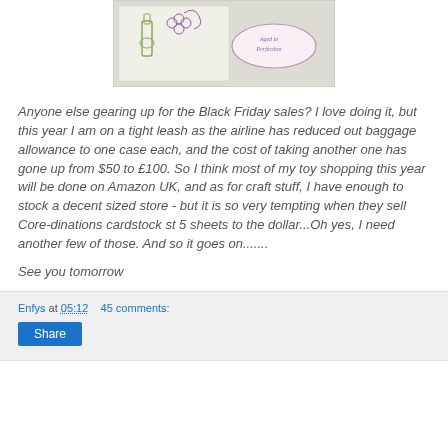[Figure (photo): Photo of a handmade card with a wine bottle and grapes illustration, featuring an oval label reading 'Aged to Perfection']
Anyone else gearing up for the Black Friday sales? I love doing it, but this year I am on a tight leash as the airline has reduced out baggage allowance to one case each, and the cost of taking another one has gone up from $50 to £100. So I think most of my toy shopping this year will be done on Amazon UK, and as for craft stuff, I have enough to stock a decent sized store - but it is so very tempting when they sell Core-dinations cardstock st 5 sheets to the dollar...Oh yes, I need another few of those. And so it goes on.......
See you tomorrow
Enfys at 05:12    45 comments: